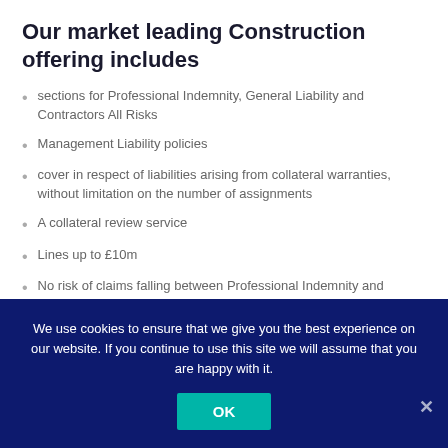Our market leading Construction offering includes
sections for Professional Indemnity, General Liability and Contractors All Risks
Management Liability policies
cover in respect of liabilities arising from collateral warranties, without limitation on the number of assignments
A collateral review service
Lines up to £10m
No risk of claims falling between Professional Indemnity and Liability policies
Notification of claims to one Insurer, reducing the risk of late notification issues
We use cookies to ensure that we give you the best experience on our website. If you continue to use this site we will assume that you are happy with it.